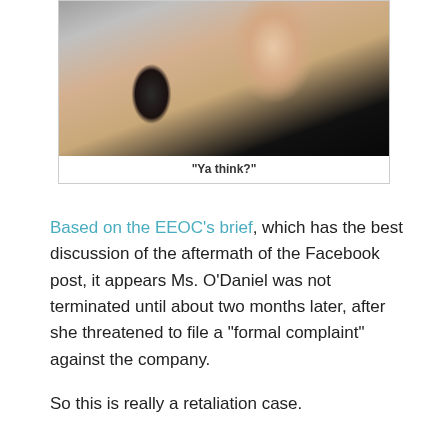[Figure (photo): Close-up photo of a woman with dark hair and a camera, cropped at the neck/chin area]
"Ya think?"
Based on the EEOC's brief, which has the best discussion of the aftermath of the Facebook post, it appears Ms. O'Daniel was not terminated until about two months later, after she threatened to file a "formal complaint" against the company.
So this is really a retaliation case.